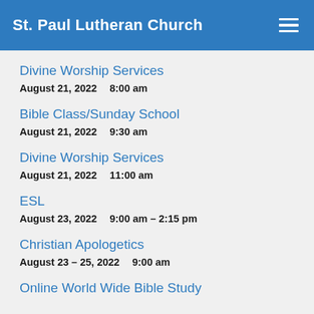St. Paul Lutheran Church
Divine Worship Services
August 21, 2022    8:00 am
Bible Class/Sunday School
August 21, 2022    9:30 am
Divine Worship Services
August 21, 2022    11:00 am
ESL
August 23, 2022    9:00 am – 2:15 pm
Christian Apologetics
August 23 – 25, 2022    9:00 am
Online World Wide Bible Study